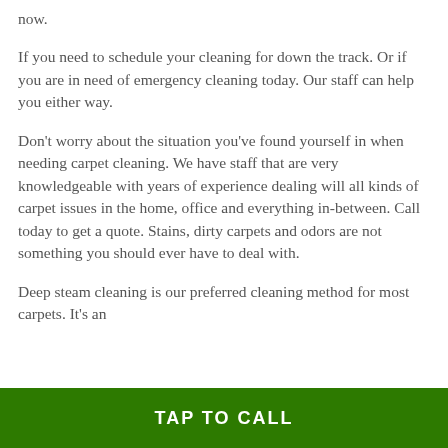now.
If you need to schedule your cleaning for down the track. Or if you are in need of emergency cleaning today. Our staff can help you either way.
Don't worry about the situation you've found yourself in when needing carpet cleaning. We have staff that are very knowledgeable with years of experience dealing will all kinds of carpet issues in the home, office and everything in-between. Call today to get a quote. Stains, dirty carpets and odors are not something you should ever have to deal with.
Deep steam cleaning is our preferred cleaning method for most carpets. It's an
TAP TO CALL